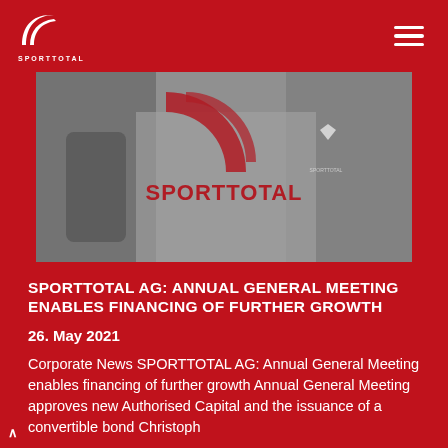SPORTTOTAL
[Figure (photo): Black and white photo showing hands holding a SPORTTOTAL microphone and a person wearing a SPORTTOTAL jacket, with red SPORTTOTAL logo overlay text in the center of the image]
SPORTTOTAL AG: ANNUAL GENERAL MEETING ENABLES FINANCING OF FURTHER GROWTH
26. May 2021
Corporate News SPORTTOTAL AG: Annual General Meeting enables financing of further growth Annual General Meeting approves new Authorised Capital and the issuance of a convertible bond Christoph